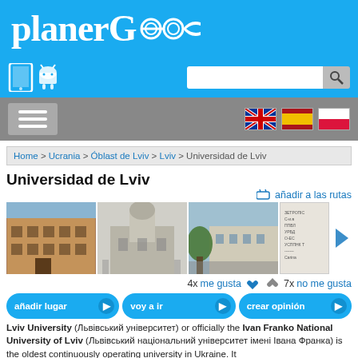[Figure (logo): planerG logo with airplane icon on blue background]
[Figure (screenshot): Navigation bar with tablet/android icons, search box, and search button]
[Figure (screenshot): Menu bar with hamburger icon and language flags (UK, Spain, Poland)]
Home > Ucrania > Óblast de Lviv > Lviv > Universidad de Lviv
Universidad de Lviv
añadir a las rutas
[Figure (photo): Three photos of Lviv University buildings and one document thumbnail]
4x me gusta  7x no me gusta
añadir lugar  voy a ir  crear opinión
Lviv University (Львівський університет) or officially the Ivan Franko National University of Lviv (Львівський національний університет імені Івана Франка) is the oldest continuously operating university in Ukraine. It